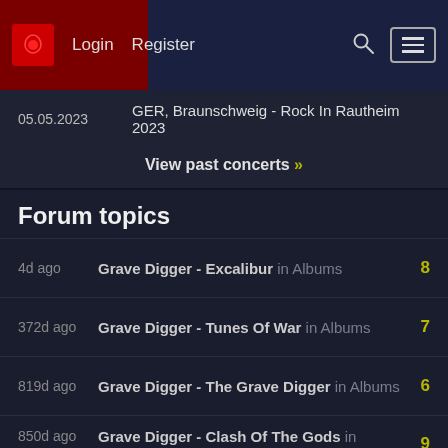Login  Register
05.05.2023   GER, Braunschweig - Rock In Rautheim 2023
View past concerts »
Forum topics
4d ago   Grave Digger - Excalibur in Albums   8
372d ago   Grave Digger - Tunes Of War in Albums   7
819d ago   Grave Digger - The Grave Digger in Albums   6
850d ago   Grave Digger - Clash Of The Gods in Albums   9
850d ago   Grave Digger - The Clans Will Rise Again in Albums   3
1114d ago   Grave Digger - Liberty Or Death in Albums   3
1514d ago   Grave Digger - Return Of The Reaper in   14